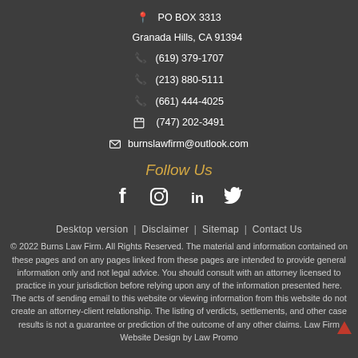📍  PO BOX 3313
         Granada Hills, CA 91394
📞   (619) 379-1707
📞   (213) 880-5111
📞   (661) 444-4025
🖷   (747) 202-3491
✉   burnslawfirm@outlook.com
Follow Us
[Figure (other): Social media icons: Facebook, Instagram, LinkedIn, Twitter]
Desktop version | Disclaimer | Sitemap | Contact Us
© 2022 Burns Law Firm. All Rights Reserved. The material and information contained on these pages and on any pages linked from these pages are intended to provide general information only and not legal advice. You should consult with an attorney licensed to practice in your jurisdiction before relying upon any of the information presented here. The acts of sending email to this website or viewing information from this website do not create an attorney-client relationship. The listing of verdicts, settlements, and other case results is not a guarantee or prediction of the outcome of any other claims. Law Firm Website Design by Law Promo